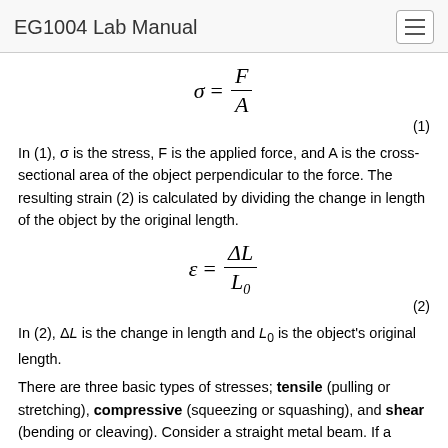EG1004 Lab Manual
In (1), σ is the stress, F is the applied force, and A is the cross-sectional area of the object perpendicular to the force. The resulting strain (2) is calculated by dividing the change in length of the object by the original length.
In (2), ΔL is the change in length and L₀ is the object's original length.
There are three basic types of stresses; tensile (pulling or stretching), compressive (squeezing or squashing), and shear (bending or cleaving). Consider a straight metal beam. If a tensile stress is applied to both ends, its length will increase in both directions of the force, while its cross-sectional area perpendicular to the force applied will decrease. Under compressive stress, the